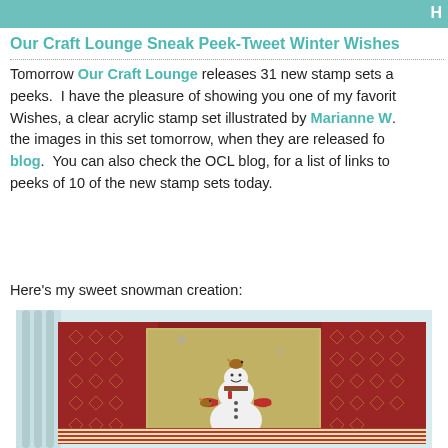H
Our Craft Lounge Sneak Peek-Tweet Winter Wishes
Tomorrow Our Craft Lounge releases 31 new stamp sets and peeks.  I have the pleasure of showing you one of my favorite Winter Wishes, a clear acrylic stamp set illustrated by Marianne W. the images in this set tomorrow, when they are released for blog.  You can also check the OCL blog, for a list of links to peeks of 10 of the new stamp sets today.
Here's my sweet snowman creation:
[Figure (photo): A handmade greeting card featuring a snowman stamp on a green background, surrounded by red patterned paper with gold diamond designs, and red/green striped paper at the bottom. The snowman is wearing a striped scarf and mittens and holds a small bird, with another bird perched on its head. The card is propped against a white decorative stand.]